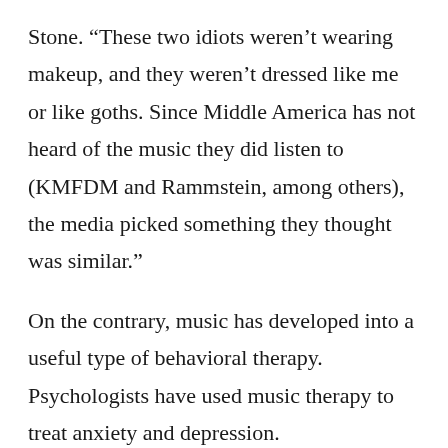Stone. “These two idiots weren’t wearing makeup, and they weren’t dressed like me or like goths. Since Middle America has not heard of the music they did listen to (KMFDM and Rammstein, among others), the media picked something they thought was similar.”
On the contrary, music has developed into a useful type of behavioral therapy. Psychologists have used music therapy to treat anxiety and depression.
According to the American Music Therapy